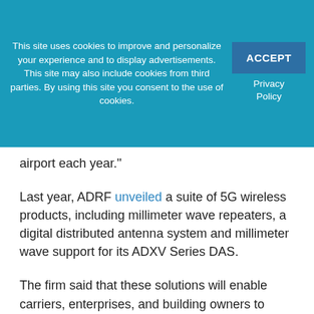This site uses cookies to improve and personalize your experience and to display advertisements. This site may also include cookies from third parties. By using this site you consent to the use of cookies.
ACCEPT
Privacy Policy
airport each year."
Last year, ADRF unveiled a suite of 5G wireless products, including millimeter wave repeaters, a digital distributed antenna system and millimeter wave support for its ADXV Series DAS.
The firm said that these solutions will enable carriers, enterprises, and building owners to provide 5G in-building wireless connectivity required to support Enhanced Mobile Broadband (eMBB), Massive IoT (mMTC), Ultra-Reliable Low-latency...